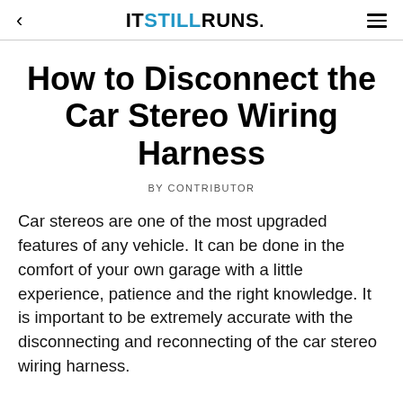ITSTILLRUNS.
How to Disconnect the Car Stereo Wiring Harness
BY CONTRIBUTOR
Car stereos are one of the most upgraded features of any vehicle. It can be done in the comfort of your own garage with a little experience, patience and the right knowledge. It is important to be extremely accurate with the disconnecting and reconnecting of the car stereo wiring harness.